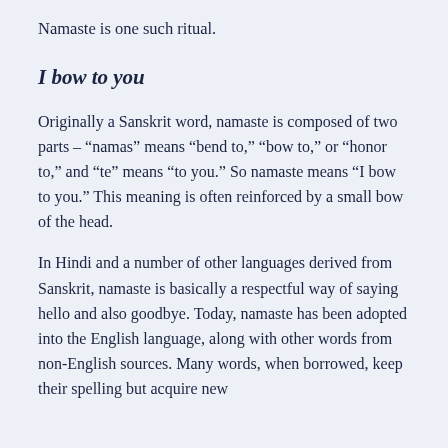Namaste is one such ritual.
I bow to you
Originally a Sanskrit word, namaste is composed of two parts – “namas” means “bend to,” “bow to,” or “honor to,” and “te” means “to you.” So namaste means “I bow to you.” This meaning is often reinforced by a small bow of the head.
In Hindi and a number of other languages derived from Sanskrit, namaste is basically a respectful way of saying hello and also goodbye. Today, namaste has been adopted into the English language, along with other words from non-English sources. Many words, when borrowed, keep their spelling but acquire new meanings. This is also considered important.